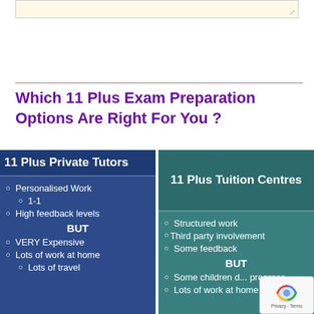[Figure (screenshot): Textarea input box with resize handle and Send button below it]
Which 11 Plus Exam Preparation Options Are Right For You ?
[Figure (infographic): Two-column comparison infographic. Left column (dark blue): 11 Plus Private Tutors - Personalised Work, 1-1, High feedback levels, BUT, VERY Expensive, Lots of work at home, Lots of travel. Right column (teal): 11 Plus Tuition Centres - Structured work, Third party involvement, Some feedback, BUT, Some children progress, Lots of work at home]